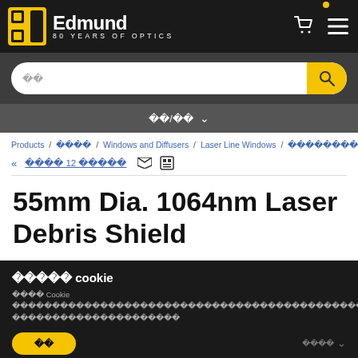Edmund Optics – 80 Years of Optics
Search bar with search button
Navigation bar with language/region selector
Breadcrumb: Products / [Japanese] / Windows and Diffusers / Laser Line Windows / [Japanese]
<< [Japanese] 12 [Japanese] (mail icon) (print icon)
55mm Dia. 1064nm Laser Debris Shield
[Japanese] cookie
[Japanese] Cookie [Japanese text about cookies]
[Accept button]